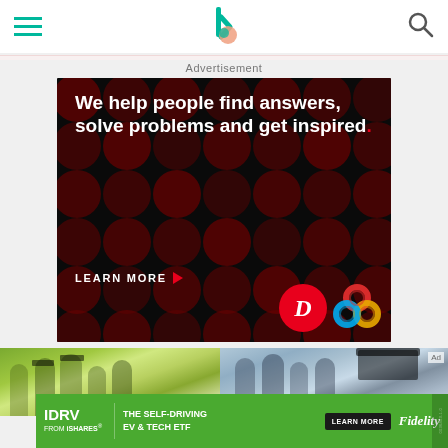Navigation bar with hamburger menu, center logo, and search icon
Advertisement
[Figure (infographic): Dark advertisement with red polka dot background. White bold text reads: 'We help people find answers, solve problems and get inspired.' with a red period. LEARN MORE button with red arrow. Logos for Doctors (D in red circle) and another colorful knot-pattern logo.]
[Figure (photo): Two photos of families at graduation events. Left photo shows family group in outdoor setting. Right photo shows group of graduates.]
[Figure (infographic): Green banner ad: IDRV FROM iSHARES. THE SELF-DRIVING EV & TECH ETF. LEARN MORE button. Fidelity logo.]